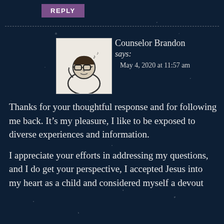REPLY
[Figure (illustration): Sketch drawing of a person with glasses, appearing to be Counselor Brandon's avatar photo]
Counselor Brandon says:
May 4, 2020 at 11:57 am

Thanks for your thoughtful response and for following me back. It's my pleasure, I like to be exposed to diverse experiences and information.

I appreciate your efforts in addressing my questions, and I do get your perspective, I accepted Jesus into my heart as a child and considered myself a devout